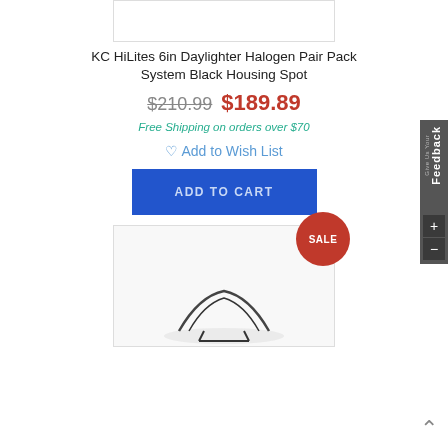[Figure (photo): Top portion of a product image (cropped), white background]
KC HiLites 6in Daylighter Halogen Pair Pack System Black Housing Spot
$210.99 $189.89
Free Shipping on orders over $70
Add to Wish List
ADD TO CART
[Figure (photo): Second product image partially visible with a SALE badge in top right corner]